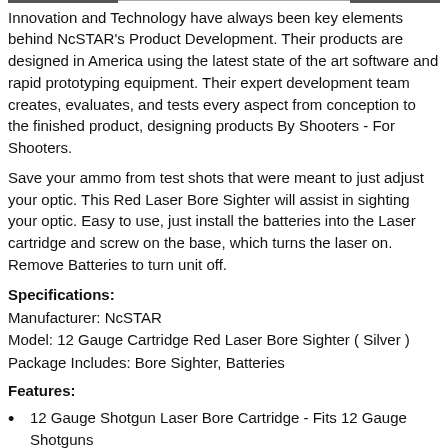Innovation and Technology have always been key elements behind NcSTAR's Product Development. Their products are designed in America using the latest state of the art software and rapid prototyping equipment. Their expert development team creates, evaluates, and tests every aspect from conception to the finished product, designing products By Shooters - For Shooters.
Save your ammo from test shots that were meant to just adjust your optic. This Red Laser Bore Sighter will assist in sighting your optic. Easy to use, just install the batteries into the Laser cartridge and screw on the base, which turns the laser on. Remove Batteries to turn unit off.
Specifications:
Manufacturer: NcSTAR
Model: 12 Gauge Cartridge Red Laser Bore Sighter ( Silver )
Package Includes: Bore Sighter, Batteries
Features:
12 Gauge Shotgun Laser Bore Cartridge - Fits 12 Gauge Shotguns
Red Laser: 635-655nm, Max output <5mw, Class IIIa Laser
Factory Pre-Aligned Cartridge Bore Sighters, helps with Zeroing your optics